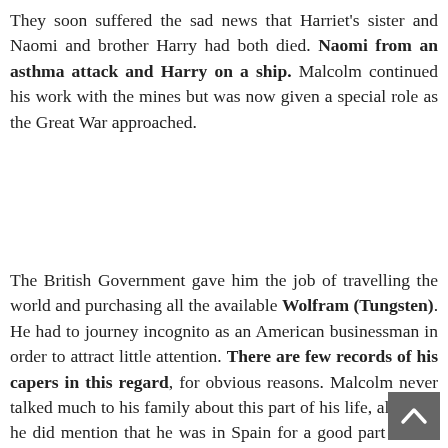They soon suffered the sad news that Harriet's sister and Naomi and brother Harry had both died. Naomi from an asthma attack and Harry on a ship. Malcolm continued his work with the mines but was now given a special role as the Great War approached.
The British Government gave him the job of travelling the world and purchasing all the available Wolfram (Tungsten). He had to journey incognito as an American businessman in order to attract little attention. There are few records of his capers in this regard, for obvious reasons. Malcolm never talked much to his family about this part of his life, although he did mention that he was in Spain for a good part of that time. He also maintained his private work as a consultant mining engineer and he and Harriet kept up their travelling. Their son Edward was born in Korea on 24th June 1915 and it was here that Harriet had to milk a goat in order to supplement the boy's food. The goat was not used to being milked, but Harriet would not be dissuaded. Malcolm continued to work for the British Govern[ment und]er